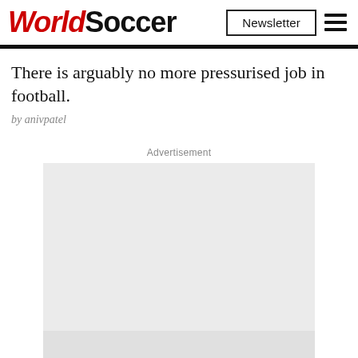WorldSoccer
There is arguably no more pressurised job in football.
by anivpatel
Advertisement
[Figure (other): Advertisement placeholder block (light grey rectangle)]